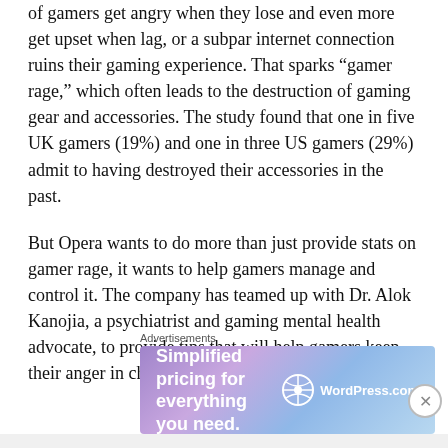of gamers get angry when they lose and even more get upset when lag, or a subpar internet connection ruins their gaming experience. That sparks “gamer rage,” which often leads to the destruction of gaming gear and accessories. The study found that one in five UK gamers (19%) and one in three US gamers (29%) admit to having destroyed their accessories in the past.
But Opera wants to do more than just provide stats on gamer rage, it wants to help gamers manage and control it. The company has teamed up with Dr. Alok Kanojia, a psychiatrist and gaming mental health advocate, to provide tips that will help gamers keep their anger in check and manage these frustrations
Advertisements
[Figure (other): WordPress.com advertisement banner with purple-blue gradient background showing text 'Simplified pricing for everything you need.' and WordPress.com logo]